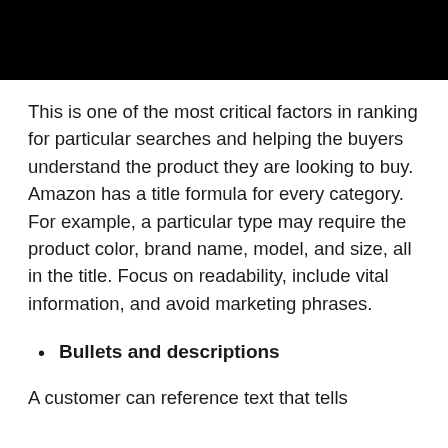This is one of the most critical factors in ranking for particular searches and helping the buyers understand the product they are looking to buy. Amazon has a title formula for every category. For example, a particular type may require the product color, brand name, model, and size, all in the title. Focus on readability, include vital information, and avoid marketing phrases.
Bullets and descriptions
A customer can reference text that tells